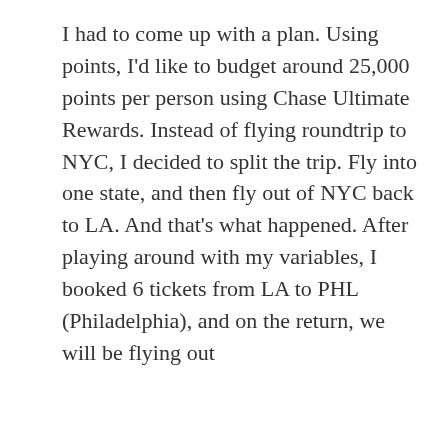I had to come up with a plan. Using points, I'd like to budget around 25,000 points per person using Chase Ultimate Rewards. Instead of flying roundtrip to NYC, I decided to split the trip. Fly into one state, and then fly out of NYC back to LA. And that's what happened. After playing around with my variables, I booked 6 tickets from LA to PHL (Philadelphia), and on the return, we will be flying out